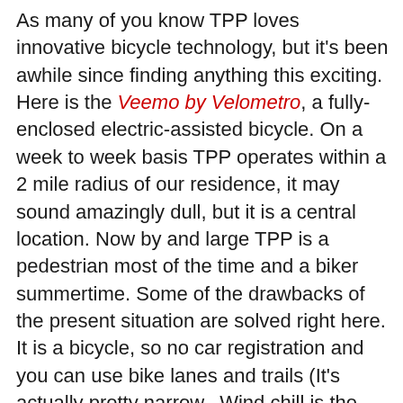As many of you know TPP loves innovative bicycle technology, but it's been awhile since finding anything this exciting.  Here is the Veemo by Velometro, a fully-enclosed electric-assisted bicycle. On a week to week basis TPP operates within a 2 mile radius of our residence, it may sound amazingly dull, but it is a central location. Now by and large TPP is a pedestrian most of the time and a biker summertime.  Some of the drawbacks of the present situation are solved right here. It is a bicycle, so no car registration and you can use bike lanes and trails (It's actually pretty narrow.  Wind chill is the biggest factor for the Phactor during the winter, and of course, every biker is certain to have gotten wet at some time, but this enclosed 3-wheeler really solves the weather problem.  The second problem with walking or biking is cargo; a gallon of milk is about 8.5 pounds a signifcant amount to carry any distance either walking or on a bike.  Our local "people" grocery store is